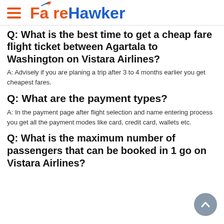FareHawker
Q: What is the best time to get a cheap fare flight ticket between Agartala to Washington on Vistara Airlines?
A: Advisely if you are planing a trip after 3 to 4 months earlier you get cheapest fares.
Q: What are the payment types?
A: In the payment page after flight selection and name entering process you get all the payment modes like card, credit card, wallets etc.
Q: What is the maximum number of passengers that can be booked in 1 go on Vistara Airlines?